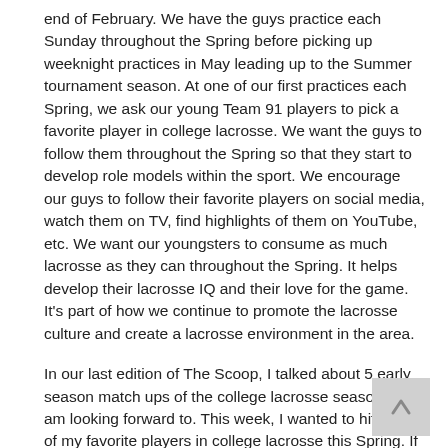end of February. We have the guys practice each Sunday throughout the Spring before picking up weeknight practices in May leading up to the Summer tournament season. At one of our first practices each Spring, we ask our young Team 91 players to pick a favorite player in college lacrosse. We want the guys to follow them throughout the Spring so that they start to develop role models within the sport. We encourage our guys to follow their favorite players on social media, watch them on TV, find highlights of them on YouTube, etc. We want our youngsters to consume as much lacrosse as they can throughout the Spring. It helps develop their lacrosse IQ and their love for the game. It's part of how we continue to promote the lacrosse culture and create a lacrosse environment in the area.
In our last edition of The Scoop, I talked about 5 early season match ups of the college lacrosse season that I am looking forward to. This week, I wanted to hit on 10 of my favorite players in college lacrosse this Spring. If you have a chance, check them out!
Charlotte North – Attack – Boston College